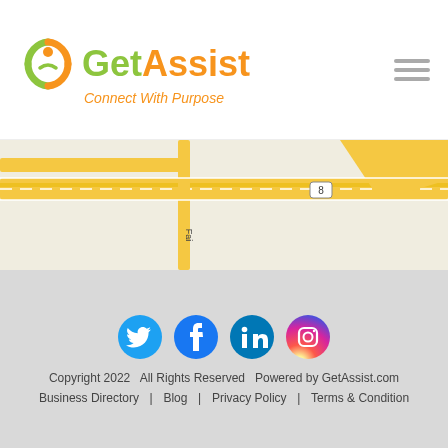GetAssist - Connect With Purpose
[Figure (map): Street map showing highway interchange with road labeled 8 and street labeled Fa, yellow roads on tan/green background]
[Figure (infographic): Social media icons: Twitter (blue circle), Facebook (dark blue circle), LinkedIn (blue circle), Instagram (gradient pink/purple circle)]
Copyright 2022  All Rights Reserved  Powered by GetAssist.com
Business Directory  |  Blog  |  Privacy Policy  |  Terms & Condition